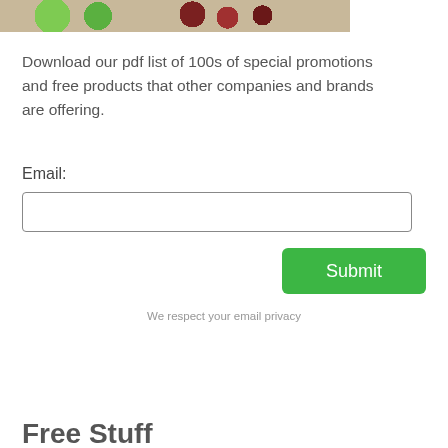[Figure (photo): Photo strip showing green glass bottles and decorative beaded jewelry on a wooden surface]
Download our pdf list of 100s of special promotions and free products that other companies and brands are offering.
Email:
Submit
We respect your email privacy
Free Stuff